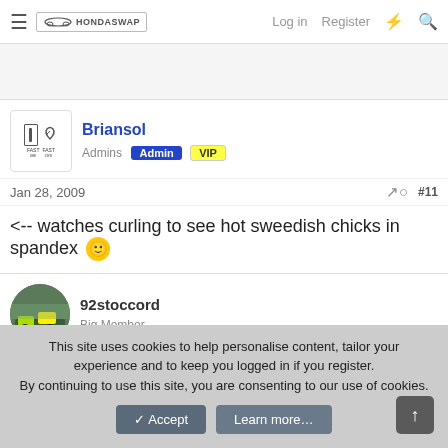HondaSwap — Log in  Register
Briansol — Admins Admin VIP
Jan 28, 2009   #11
<-- watches curling to see hot sweedish chicks in spandex 🙂
92stoccord — Big Member
This site uses cookies to help personalise content, tailor your experience and to keep you logged in if you register. By continuing to use this site, you are consenting to our use of cookies.